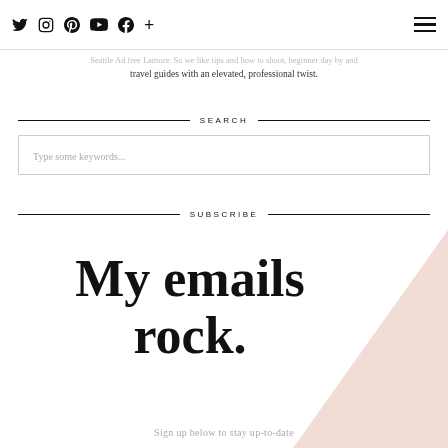Social icons: Twitter, Instagram, Pinterest, YouTube, Facebook, Plus | Hamburger menu
Seattle Ad free Lamore. So we like tips and how to shoot, beginner day by and travel guides with an elevated, professional twist.
SEARCH
Type some keywords...
SUBSCRIBE
My emails rock.
Sign up below to stay up-to-date